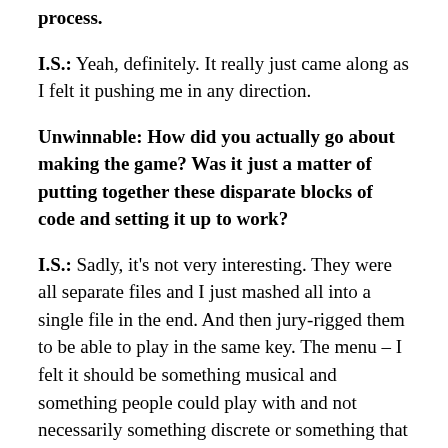process.
I.S.: Yeah, definitely. It really just came along as I felt it pushing me in any direction.
Unwinnable: How did you actually go about making the game? Was it just a matter of putting together these disparate blocks of code and setting it up to work?
I.S.: Sadly, it’s not very interesting. They were all separate files and I just mashed all into a single file in the end. And then jury-rigged them to be able to play in the same key. The menu – I felt it should be something musical and something people could play with and not necessarily something discrete or something that easily communicated that it was a menu. Which is why you get those weird dancing